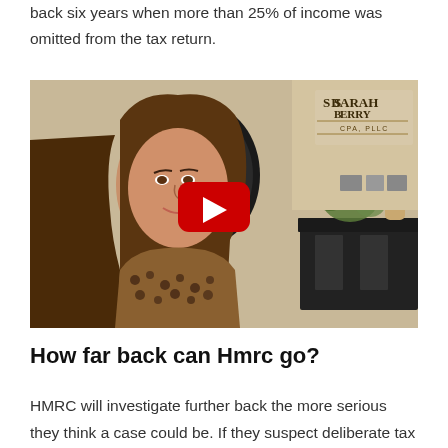back six years when more than 25% of income was omitted from the tax return.
[Figure (screenshot): YouTube video thumbnail showing a woman in a leopard-print top speaking to camera in an office setting, with a Sarah Berry CPA, PLLC logo visible in the upper right. A red YouTube play button is overlaid in the center.]
How far back can Hmrc go?
HMRC will investigate further back the more serious they think a case could be. If they suspect deliberate tax